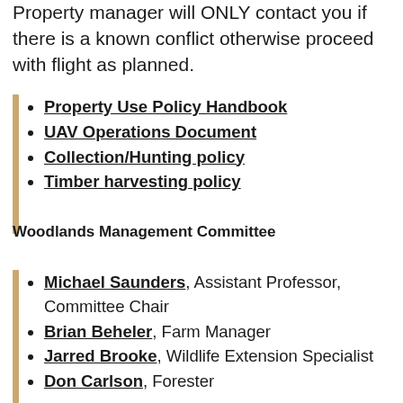Property manager will ONLY contact you if there is a known conflict otherwise proceed with flight as planned.
Property Use Policy Handbook
UAV Operations Document
Collection/Hunting policy
Timber harvesting policy
Woodlands Management Committee
Michael Saunders, Assistant Professor, Committee Chair
Brian Beheler, Farm Manager
Jarred Brooke, Wildlife Extension Specialist
Don Carlson, Forester